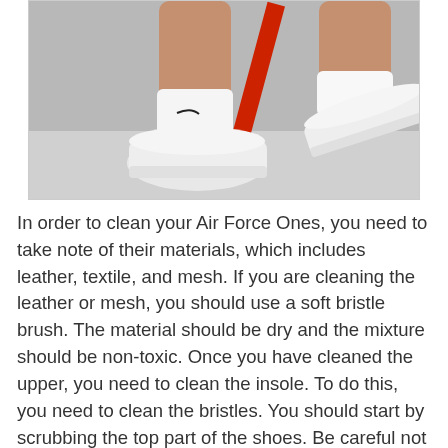[Figure (photo): Legs of a person wearing white Nike Air Force One sneakers and white Nike crew socks, seated on a red stool against a grey background. One foot is on the ground and one is lifted and crossed over.]
In order to clean your Air Force Ones, you need to take note of their materials, which includes leather, textile, and mesh. If you are cleaning the leather or mesh, you should use a soft bristle brush. The material should be dry and the mixture should be non-toxic. Once you have cleaned the upper, you need to clean the insole. To do this, you need to clean the bristles. You should start by scrubbing the top part of the shoes. Be careful not to scrub the insole.
To clean the swoosh, you can add some baking soda